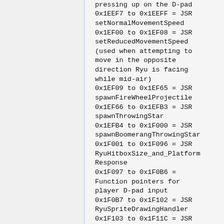Player input code when pressing up on the D-pad
0x1EEF7 to 0x1EEFF = JSR setNormalMovementSpeed
0x1EF00 to 0x1EF08 = JSR setReducedMovementSpeed (used when attempting to move in the opposite direction Ryu is facing while mid-air)
0x1EF09 to 0x1EF65 = JSR spawnFireWheelProjectile
0x1EF66 to 0x1EFB3 = JSR spawnThrowingStar
0x1EFB4 to 0x1F000 = JSR spawnBoomerangThrowingStar
0x1F001 to 0x1F096 = JSR RyuHitboxSize_and_Platform Response
0x1F097 to 0x1F0B6 = Function pointers for player D-pad input
0x1F0B7 to 0x1F102 = JSR RyuSpriteDrawingHandler
0x1F103 to 0x1F11C = JSR